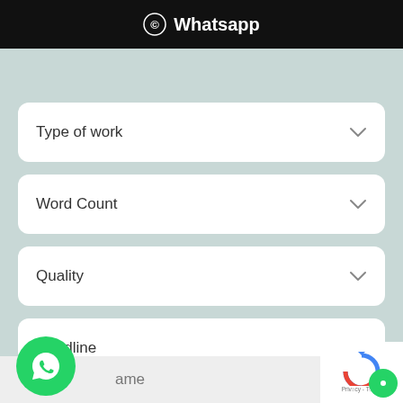⊙ Whatsapp
Type of work
Word Count
Quality
Deadline
ame